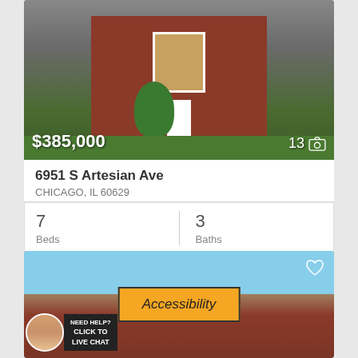[Figure (photo): Front exterior photo of a brick two-story house with white trim, a bush/tree in front yard, green lawn, priced at $385,000 with 13 photos]
$385,000
13
6951 S Artesian Ave
CHICAGO, IL 60629
7 Beds
3 Baths
MLS #: 11620539
[Figure (photo): Front exterior of a brick multi-story building with blue sky background, with an Accessibility overlay button and a live chat widget]
Accessibility
NEED HELP? CLICK TO LIVE CHAT